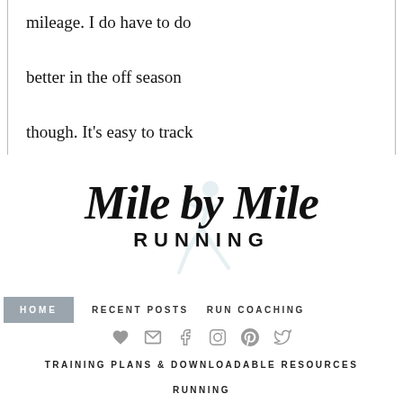mileage. I do have to do better in the off season though. It's easy to track
[Figure (logo): Mile by Mile Running blog logo with script text 'Mile by Mile' and block text 'RUNNING' with a faint runner silhouette in the background]
HOME   RECENT POSTS   RUN COACHING
[Figure (infographic): Social media icons row: heart, email, facebook, instagram, pinterest, twitter]
TRAINING PLANS & DOWNLOADABLE RESOURCES
RUNNING